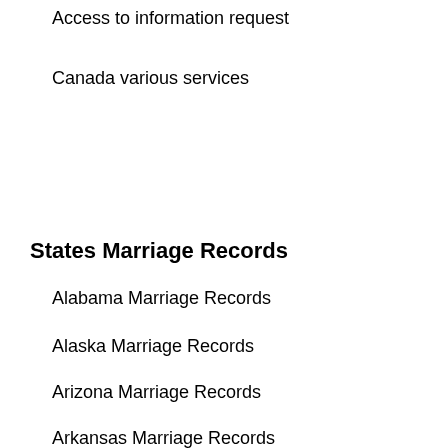Access to information request
Canada various services
States Marriage Records
Alabama Marriage Records
Alaska Marriage Records
Arizona Marriage Records
Arkansas Marriage Records
California Marriage Records